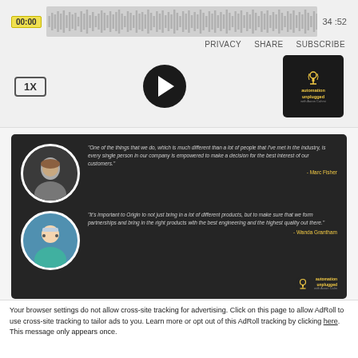[Figure (screenshot): Audio podcast player showing waveform with timestamp 00:00 at start and 34:52 at end. Controls include PRIVACY, SHARE, SUBSCRIBE links, 1X speed button, play button, and Automation Unplugged podcast logo.]
[Figure (infographic): Dark-themed quote card with two circular avatar photos. Top: male speaker (Marc Fisher) with quote about empowering every person in the company to make a decision for the best interest of customers. Bottom: female speaker (Wanda Grantham) with quote about Origin bringing in different products and partnering to bring the right products with the best engineering and highest quality. Automation Unplugged logo in bottom right.]
Your browser settings do not allow cross-site tracking for advertising. Click on this page to allow AdRoll to use cross-site tracking to tailor ads to you. Learn more or opt out of this AdRoll tracking by clicking here. This message only appears once.
Accept and Close ✕